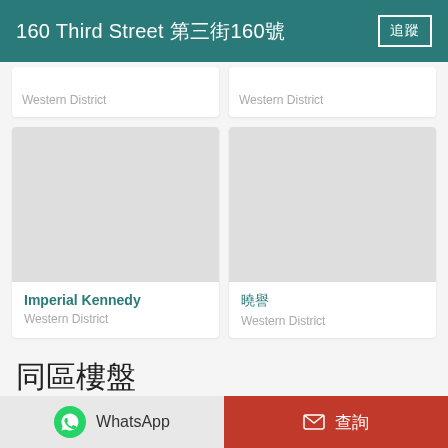160 Third Street 第三街160號
Western District
Western District
Imperial Kennedy
Western District
曉譽
Western District
同區樓盤
[Figure (photo): Interior room photo showing chandelier and framed artwork on wall]
[Figure (photo): Interior room photo partial view]
WhatsApp  查詢